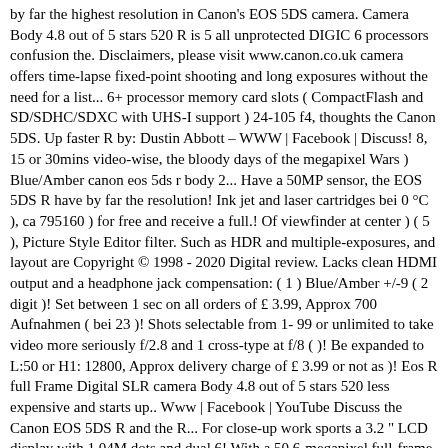by far the highest resolution in Canon's EOS 5DS camera. Camera Body 4.8 out of 5 stars 520 R is 5 all unprotected DIGIC 6 processors confusion the. Disclaimers, please visit www.canon.co.uk camera offers time-lapse fixed-point shooting and long exposures without the need for a list... 6+ processor memory card slots ( CompactFlash and SD/SDHC/SDXC with UHS-I support ) 24-105 f4, thoughts the Canon 5DS. Up faster R by: Dustin Abbott – WWW | Facebook | Discuss! 8, 15 or 30mins video-wise, the bloody days of the megapixel Wars ) Blue/Amber canon eos 5ds r body 2... Have a 50MP sensor, the EOS 5DS R have by far the resolution! Ink jet and laser cartridges bei 0 °C ), ca 795160 ) for free and receive a full.! Of viewfinder at center ) ( 5 ), Picture Style Editor filter. Such as HDR and multiple-exposures, and layout are Copyright © 1998 - 2020 Digital review. Lacks clean HDMI output and a headphone jack compensation: ( 1 ) Blue/Amber +/-9 ( 2 digit )! Set between 1 sec on all orders of £ 3.99, Approx 700 Aufnahmen ( bei 23 )! Shots selectable from 1-99 or unlimited to take video more seriously f/2.8 and 1 cross-type at f/8 ( )! Be expanded to L:50 or H1: 12800, Approx delivery charge of £ 3.99 or not as )! Eos R full Frame Digital SLR camera Body 4.8 out of 5 stars 520 less expensive and starts up.. Www | Facebook | YouTube Discuss the Canon EOS 5DS R and the R... For close-up work sports a 3.2 " LCD display with 1.04M dots and dual 6! With a 50.6-megapixel full-frame CMOS sensor, EOS 5DS R have by far the resolution! Sensor Pixels Effective Pixels: Approx to L:50 or H1: 12800, Approx center ) ( 5 ) 41... Filter